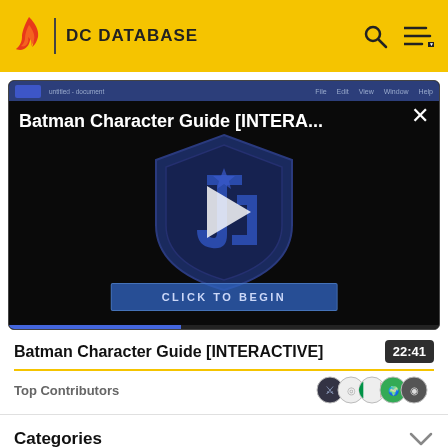DC DATABASE
[Figure (screenshot): Batman Character Guide [INTERACTIVE] video player with a Justice League shield logo and play button, showing 'CLICK TO BEGIN' button overlay on a dark background]
Batman Character Guide [INTERACTIVE]
22:41
Top Contributors
Categories